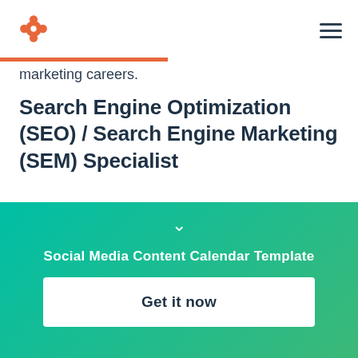[Figure (logo): HubSpot logo (orange sprocket icon) in top left]
marketing careers.
Search Engine Optimization (SEO) / Search Engine Marketing (SEM) Specialist
Search engine optimization refers to organically optimizing web content to be indexed by search
Social Media Content Calendar Template
Get it now